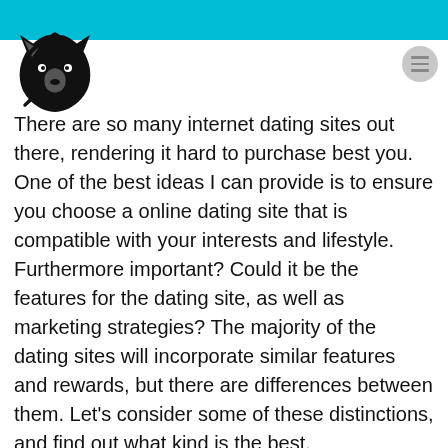[Figure (logo): Black wolf/fox head logo in top-left area]
There are so many internet dating sites out there, rendering it hard to purchase best you. One of the best ideas I can provide is to ensure you choose a online dating site that is compatible with your interests and lifestyle. Furthermore important? Could it be the features for the dating site, as well as marketing strategies? The majority of the dating sites will incorporate similar features and rewards, but there are differences between them. Let's consider some of these distinctions, and find out what kind is the best.
One of the better features you can discover in the top rated dating sites is usually matchmaking. If you haven't applied matchmaking just before, it is absolutely something you need to experiment with.